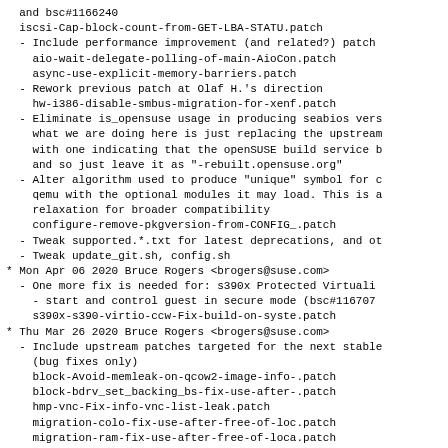and bsc#1166240
  iscsi-Cap-block-count-from-GET-LBA-STATU.patch
- Include performance improvement (and related?) patch
  aio-wait-delegate-polling-of-main-AioCon.patch
  async-use-explicit-memory-barriers.patch
- Rework previous patch at Olaf H.'s direction
  hw-i386-disable-smbus-migration-for-xenf.patch
- Eliminate is_opensuse usage in producing seabios vers
  what we are doing here is just replacing the upstream
  with one indicating that the openSUSE build service b
  and so just leave it as "-rebuilt.opensuse.org"
- Alter algorithm used to produce "unique" symbol for c
  qemu with the optional modules it may load. This is a
  relaxation for broader compatibility
  configure-remove-pkgversion-from-CONFIG_.patch
- Tweak supported.*.txt for latest deprecations, and ot
- Tweak update_git.sh, config.sh
* Mon Apr 06 2020 Bruce Rogers <brogers@suse.com>
  - One more fix is needed for: s390x Protected Virtuali
    - start and control guest in secure mode (bsc#116707
    s390x-s390-virtio-ccw-Fix-build-on-syste.patch
* Thu Mar 26 2020 Bruce Rogers <brogers@suse.com>
  - Include upstream patches targeted for the next stable
    (bug fixes only)
    block-Avoid-memleak-on-qcow2-image-info-.patch
    block-bdrv_set_backing_bs-fix-use-after-.patch
    hmp-vnc-Fix-info-vnc-list-leak.patch
    migration-colo-fix-use-after-free-of-loc.patch
    migration-ram-fix-use-after-free-of-loca.patch
    ppc-ppc405_boards-Remove-unnecessary-NUL.patch